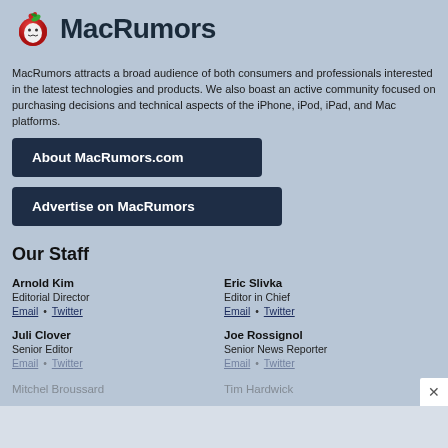[Figure (logo): MacRumors logo with apple icon and site name]
MacRumors attracts a broad audience of both consumers and professionals interested in the latest technologies and products. We also boast an active community focused on purchasing decisions and technical aspects of the iPhone, iPod, iPad, and Mac platforms.
About MacRumors.com
Advertise on MacRumors
Our Staff
Arnold Kim
Editorial Director
Email • Twitter
Eric Slivka
Editor in Chief
Email • Twitter
Juli Clover
Senior Editor
Email • Twitter
Joe Rossignol
Senior News Reporter
Email • Twitter
Mitchel Broussard
Tim Hardwick